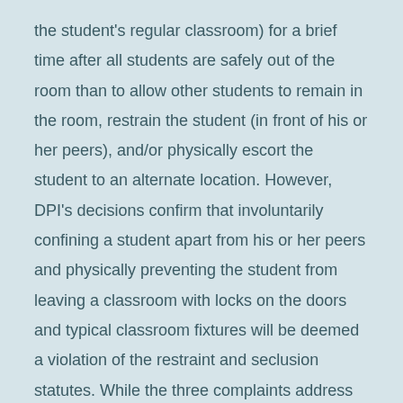the student's regular classroom) for a brief time after all students are safely out of the room than to allow other students to remain in the room, restrain the student (in front of his or her peers), and/or physically escort the student to an alternate location. However, DPI's decisions confirm that involuntarily confining a student apart from his or her peers and physically preventing the student from leaving a classroom with locks on the doors and typical classroom fixtures will be deemed a violation of the restraint and seclusion statutes. While the three complaints address seclusion in a general education classroom, districts must avoid seclusion in any room that contains objects or fixtures that may injure the student or that has